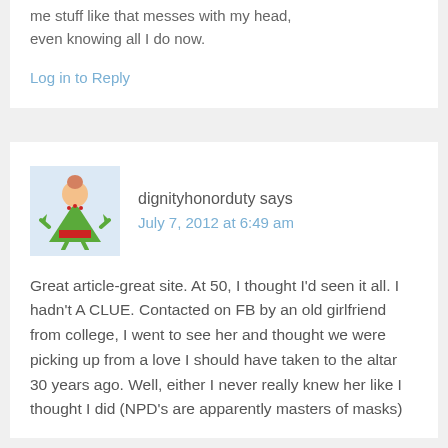me stuff like that messes with my head, even knowing all I do now.
Log in to Reply
dignityhonorduty says
July 7, 2012 at 6:49 am
Great article-great site. At 50, I thought I'd seen it all. I hadn't A CLUE. Contacted on FB by an old girlfriend from college, I went to see her and thought we were picking up from a love I should have taken to the altar 30 years ago. Well, either I never really knew her like I thought I did (NPD's are apparently masters of masks)